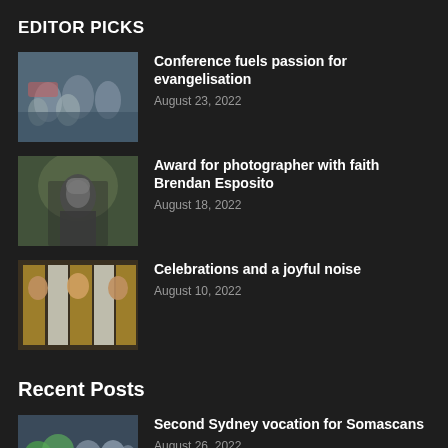EDITOR PICKS
Conference fuels passion for evangelisation
August 23, 2022
Award for photographer with faith Brendan Esposito
August 18, 2022
Celebrations and a joyful noise
August 10, 2022
Recent Posts
Second Sydney vocation for Somascans
August 26, 2022